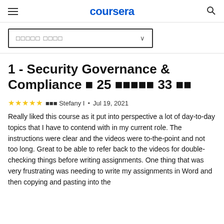coursera
1 - Security Governance & Compliance ■ 25 ■■■■■ 33 ■■
■■■ Stefany I • Jul 19, 2021
Really liked this course as it put into perspective a lot of day-to-day topics that I have to contend with in my current role. The instructions were clear and the videos were to-the-point and not too long. Great to be able to refer back to the videos for double-checking things before writing assignments. One thing that was very frustrating was needing to write my assignments in Word and then copying and pasting into the